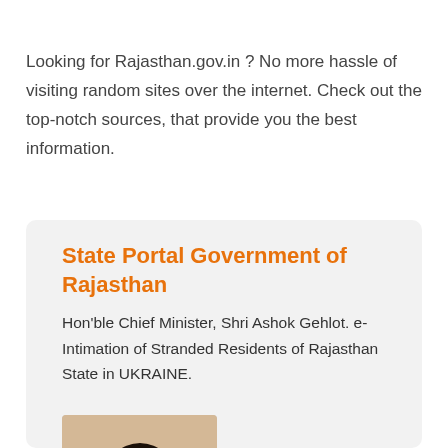Looking for Rajasthan.gov.in ? No more hassle of visiting random sites over the internet. Check out the top-notch sources, that provide you the best information.
State Portal Government of Rajasthan
Hon'ble Chief Minister, Shri Ashok Gehlot. e-Intimation of Stranded Residents of Rajasthan State in UKRAINE.
[Figure (photo): Portrait photograph of a man, presumably Chief Minister Shri Ashok Gehlot, shown from shoulders up.]